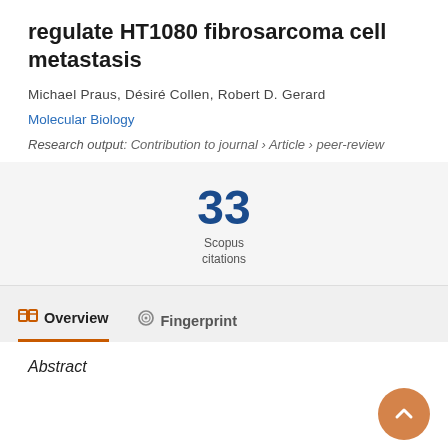regulate HT1080 fibrosarcoma cell metastasis
Michael Praus, Désiré Collen, Robert D. Gerard
Molecular Biology
Research output: Contribution to journal › Article › peer-review
33 Scopus citations
Abstract